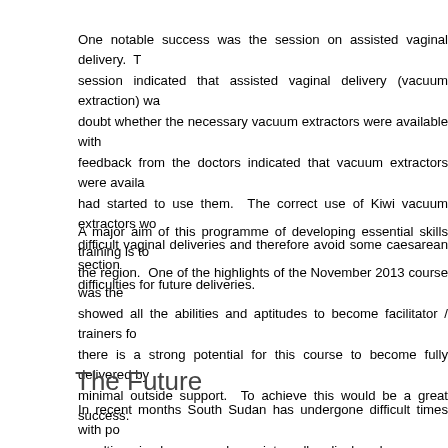One notable success was the session on assisted vaginal delivery. The session indicated that assisted vaginal delivery (vacuum extraction) was in doubt whether the necessary vacuum extractors were available with feedback from the doctors indicated that vacuum extractors were available had started to use them. The correct use of Kiwi vacuum extractors would difficult vaginal deliveries and therefore avoid some caesarean section difficulties for future deliveries.
A major aim of this programme of developing essential skills training is to the region. One of the highlights of the November 2013 course was the showed all the abilities and aptitudes to become facilitator / trainers fo there is a strong potential for this course to become fully delivered by minimal outside support. To achieve this would be a great success.
The Future
In recent months South Sudan has undergone difficult times with po resulting in large numbers internally displaced persons. Despite these Reproductive Health, Department of Health is continuing to develop its care and many NGOs have re-commenced operations. Against this b